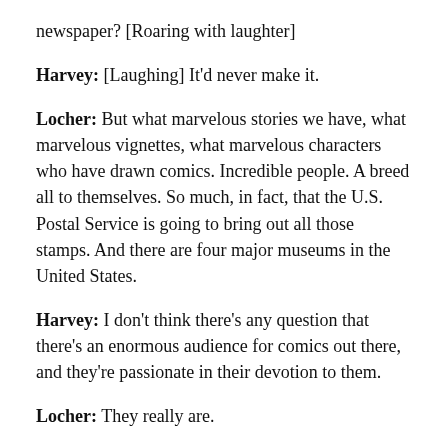newspaper? [Roaring with laughter]
Harvey: [Laughing] It'd never make it.
Locher: But what marvelous stories we have, what marvelous vignettes, what marvelous characters who have drawn comics. Incredible people. A breed all to themselves. So much, in fact, that the U.S. Postal Service is going to bring out all those stamps. And there are four major museums in the United States.
Harvey: I don't think there's any question that there's an enormous audience for comics out there, and they're passionate in their devotion to them.
Locher: They really are.
Harvey: And it is strange to me that newspapers, which are the vehicle for this medium, are treating comics so badly.